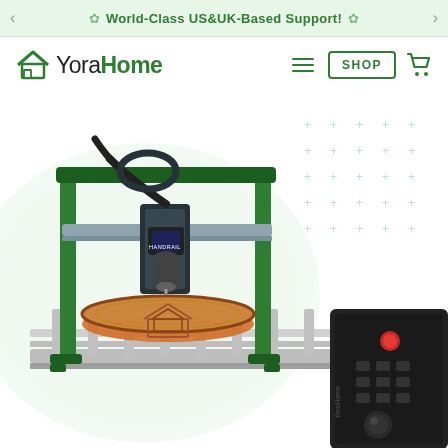World-Class US&UK-Based Support!
[Figure (logo): YoraHome logo with house icon]
[Figure (photo): YoraHome CNC milling machine (green frame) carving a YoraHome logo into a wooden slice, shown on a grid table with a control panel on the right]